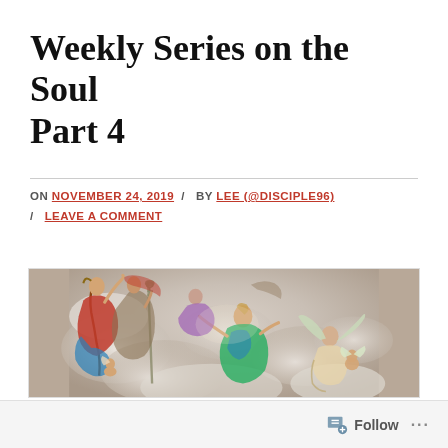Weekly Series on the Soul Part 4
ON NOVEMBER 24, 2019 / BY LEE (@DISCIPLE96) / LEAVE A COMMENT
[Figure (illustration): Baroque ceiling fresco painting depicting angels and heavenly figures among clouds, with colorful robes and wings, in a classical religious style.]
Follow ...